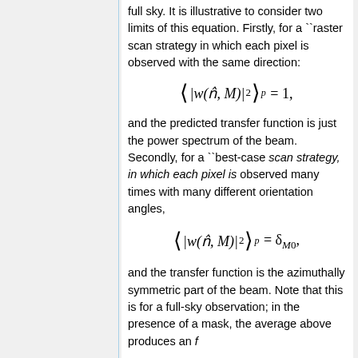full sky. It is illustrative to consider two limits of this equation. Firstly, for a ``raster scan strategy in which each pixel is observed with the same direction:
and the predicted transfer function is just the power spectrum of the beam. Secondly, for a ``best-case scan strategy, in which each pixel is observed many times with many different orientation angles,
and the transfer function is the azimuthally symmetric part of the beam. Note that this is for a full-sky observation; in the presence of a mask, the average above produces an f